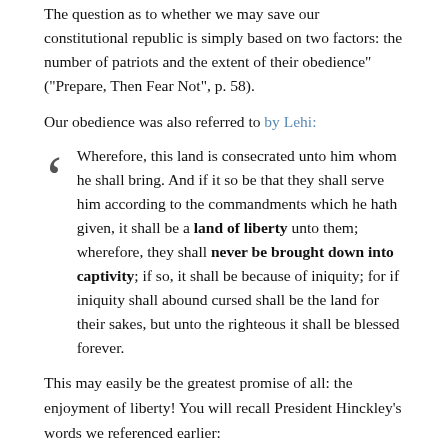The question as to whether we may save our constitutional republic is simply based on two factors: the number of patriots and the extent of their obedience" ("Prepare, Then Fear Not", p. 58).
Our obedience was also referred to by Lehi:
Wherefore, this land is consecrated unto him whom he shall bring. And if it so be that they shall serve him according to the commandments which he hath given, it shall be a land of liberty unto them; wherefore, they shall never be brought down into captivity; if so, it shall be because of iniquity; for if iniquity shall abound cursed shall be the land for their sakes, but unto the righteous it shall be blessed forever.
This may easily be the greatest promise of all: the enjoyment of liberty! You will recall President Hinckley's words we referenced earlier: